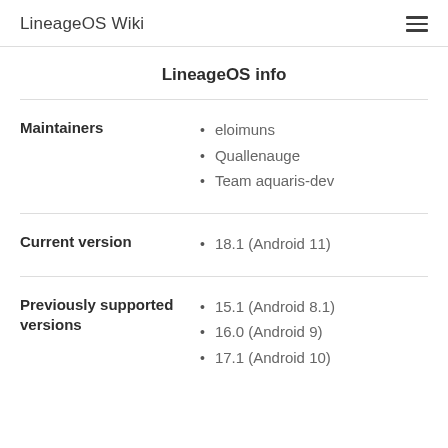LineageOS Wiki
LineageOS info
Maintainers
eloimuns
Quallenauge
Team aquaris-dev
Current version
18.1 (Android 11)
Previously supported versions
15.1 (Android 8.1)
16.0 (Android 9)
17.1 (Android 10)